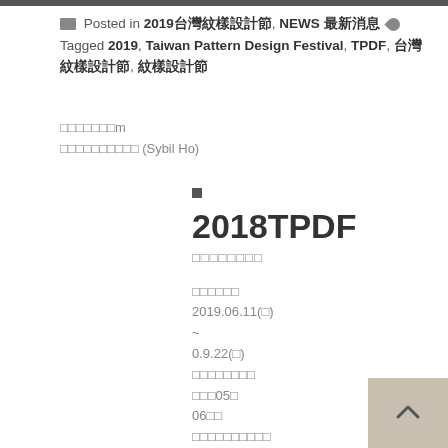Posted in 2019台灣紋樣設計節, NEWS 最新消息 Tagged 2019, Taiwan Pattern Design Festival, TPDF, 台灣紋樣設計節, 紋樣設計節
作者資訊m
何幸幸（大名） (Sybil Ho)
■
2018TPDF
台灣紋樣設計節
展覽時間
2019.06.11(二)
~
0.9.22(日)
展覽地點
台北市05號
06展覽館
更多詳細資訊請見官方
網站及相關活動說明
頁
最 新 消息